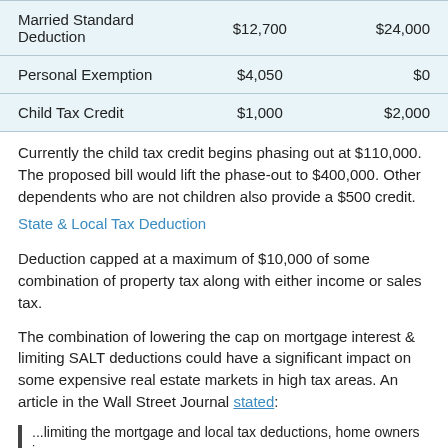| Married Standard Deduction | $12,700 | $24,000 |
| Personal Exemption | $4,050 | $0 |
| Child Tax Credit | $1,000 | $2,000 |
Currently the child tax credit begins phasing out at $110,000. The proposed bill would lift the phase-out to $400,000. Other dependents who are not children also provide a $500 credit.
State & Local Tax Deduction
Deduction capped at a maximum of $10,000 of some combination of property tax along with either income or sales tax.
The combination of lowering the cap on mortgage interest & limiting SALT deductions could have a significant impact on some expensive real estate markets in high tax areas. An article in the Wall Street Journal stated:
...limiting the mortgage and local tax deductions, home owners in...